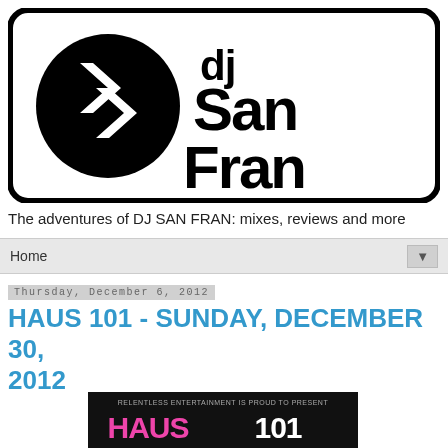[Figure (logo): dj San Fran logo — black rounded rectangle border containing a circular SF monogram icon on the left and large bold text 'dj San Fran' on the right]
The adventures of DJ SAN FRAN: mixes, reviews and more
Home ▼
Thursday, December 6, 2012
HAUS 101 - SUNDAY, DECEMBER 30, 2012
[Figure (photo): Event flyer showing 'HAUS 101' — dark background with colorful text, subtitle 'Relentless Entertainment is proud to present']